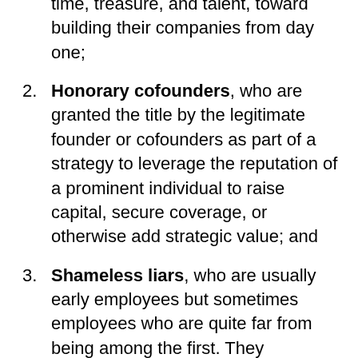time, treasure, and talent, toward building their companies from day one;
2. Honorary cofounders, who are granted the title by the legitimate founder or cofounders as part of a strategy to leverage the reputation of a prominent individual to raise capital, secure coverage, or otherwise add strategic value; and
3. Shameless liars, who are usually early employees but sometimes employees who are quite far from being among the first. They independently lay claim to being cofounders to elevate their status and advance their own interests.